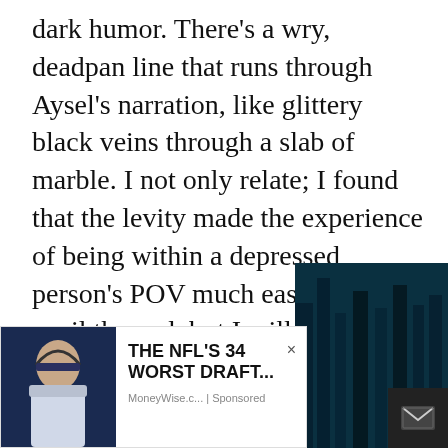dark humor. There's a wry, deadpan line that runs through Aysel's narration, like glittery black veins through a slab of marble. I not only relate; I found that the levity made the experience of being within a depressed person's POV much easier. I won't spoil the end, but I will say that the end felt satisfying without feeling too easy. —Emery Lord
[Figure (screenshot): Book cover with dark teal forest/trees background and a text quote, partially overlaid by an advertisement banner. The ad shows an NFL player photo on the left and text 'THE NFL'S 34 WORST DRAFT...' with source 'MoneyWise.c... | Sponsored' and a close X button. On the right side is a dark email icon box.]